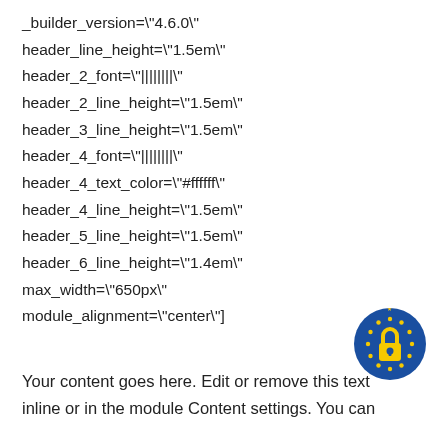_builder_version="4.6.0" header_line_height="1.5em" header_2_font="||||||||" header_2_line_height="1.5em" header_3_line_height="1.5em" header_4_font="||||||||" header_4_text_color="#ffffff" header_4_line_height="1.5em" header_5_line_height="1.5em" header_6_line_height="1.4em" max_width="650px" module_alignment="center"]
[Figure (illustration): GDPR lock badge - blue circle with gold padlock icon and gold stars ring around it]
Your content goes here. Edit or remove this text inline or in the module Content settings. You can